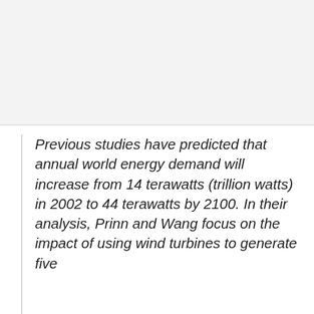[Figure (other): Placeholder image area at top of page, light gray background]
Previous studies have predicted that annual world energy demand will increase from 14 terawatts (trillion watts) in 2002 to 44 terawatts by 2100. In their analysis, Prinn and Wang focus on the impact of using wind turbines to generate five…